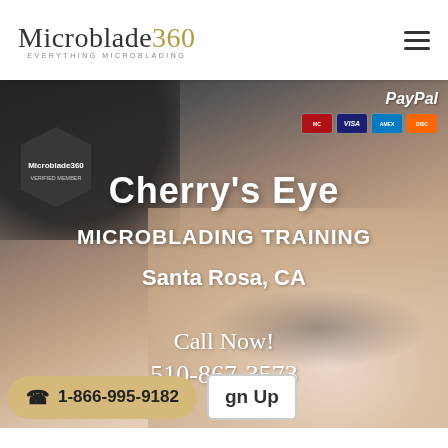[Figure (logo): Microblade360 logo with tagline EVERYTHING MICROBLADING and hamburger menu icon]
[Figure (photo): Close-up photo of microblading procedure being performed on eyebrows, showing gloved hand with tool near eye area]
Microblade360 VERIFIED MEMBER
PayPal
Cherry's Eye
MICROBLADING TRAINING
Santa Rosa, CA
Call Now!
510-867-3573
1-866-995-9182
gn Up